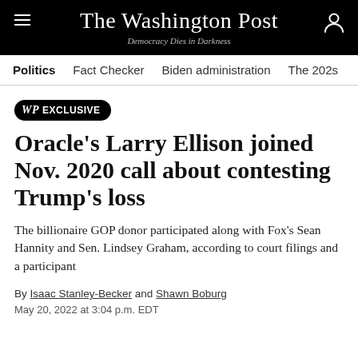The Washington Post — Democracy Dies in Darkness
Politics  Fact Checker  Biden administration  The 202s
Oracle's Larry Ellison joined Nov. 2020 call about contesting Trump's loss
The billionaire GOP donor participated along with Fox's Sean Hannity and Sen. Lindsey Graham, according to court filings and a participant
By Isaac Stanley-Becker and Shawn Boburg
May 20, 2022 at 3:04 p.m. EDT